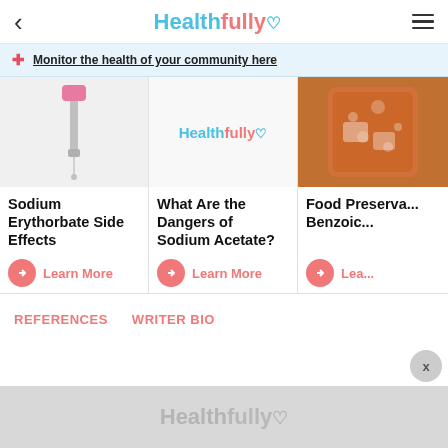Healthfully
Monitor the health of your community here
[Figure (photo): IV drip with pink cap on medical stand against light background]
Sodium Erythorbate Side Effects
Learn More
[Figure (logo): Healthfully logo on white background]
What Are the Dangers of Sodium Acetate?
Learn More
[Figure (photo): Soda drink with ice in glass, partially cropped]
Food Preserva... Benzoic...
Lea...
REFERENCES   WRITER BIO
[Figure (logo): Healthfully watermark logo in gray at bottom]